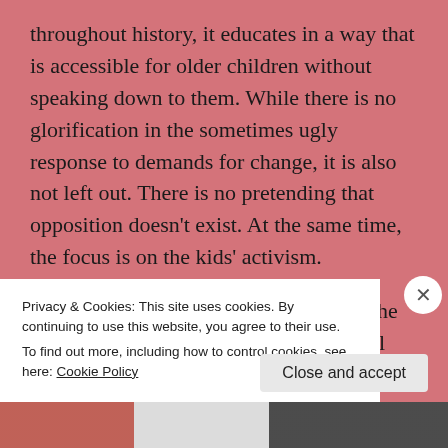throughout history, it educates in a way that is accessible for older children without speaking down to them. While there is no glorification in the sometimes ugly response to demands for change, it is also not left out. There is no pretending that opposition doesn't exist. At the same time, the focus is on the kids' activism.
I loved the timeline that is provided at the beginning of the book. As a homeschool teacher, this will be
Privacy & Cookies: This site uses cookies. By continuing to use this website, you agree to their use.
To find out more, including how to control cookies, see here: Cookie Policy